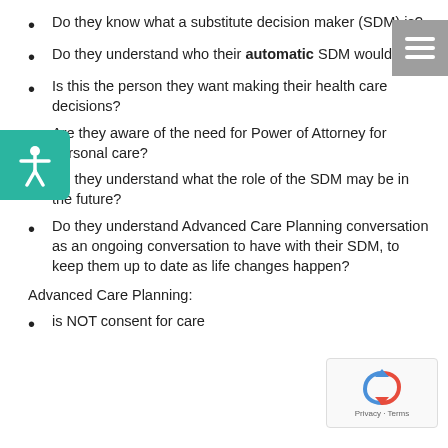Do they know what a substitute decision maker (SDM) is?
Do they understand who their automatic SDM would be?
Is this the person they want making their health care decisions?
Are they aware of the need for Power of Attorney for personal care?
Do they understand what the role of the SDM may be in the future?
Do they understand Advanced Care Planning conversation as an ongoing conversation to have with their SDM, to keep them up to date as life changes happen?
Advanced Care Planning:
is NOT consent for care